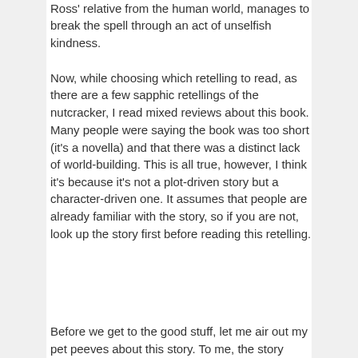Ross' relative from the human world, manages to break the spell through an act of unselfish kindness.
Now, while choosing which retelling to read, as there are a few sapphic retellings of the nutcracker, I read mixed reviews about this book. Many people were saying the book was too short (it's a novella) and that there was a distinct lack of world-building. This is all true, however, I think it's because it's not a plot-driven story but a character-driven one. It assumes that people are already familiar with the story, so if you are not, look up the story first before reading this retelling.
Before we get to the good stuff, let me air out my pet peeves about this story. To me, the story around Mathilde being turned into a doll sounded unconvincing. Like, why must it be someone related to Ross? Is the magic linked to blood? Most importantly, how does a fae have human relatives?